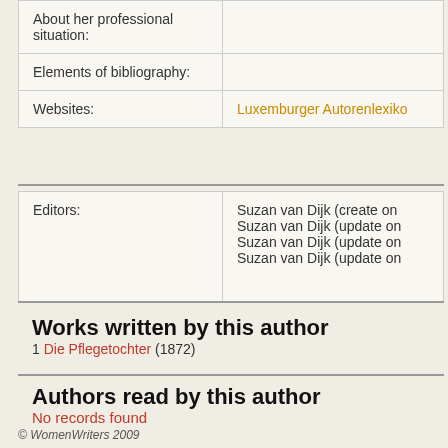| About her professional situation: |  |
| --- | --- |
| Elements of bibliography: |  |
| Websites: | Luxemburger Autorenlexiko |
| Editors: | Suzan van Dijk (create on
Suzan van Dijk (update on
Suzan van Dijk (update on
Suzan van Dijk (update on |
| --- | --- |
Works written by this author
1 Die Pflegetochter (1872)
Authors read by this author
No records found
© WomenWriters 2009